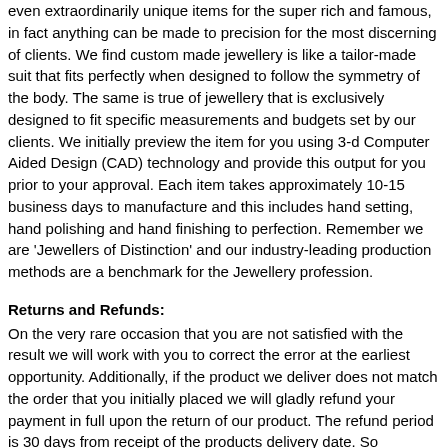even extraordinarily unique items for the super rich and famous, in fact anything can be made to precision for the most discerning of clients. We find custom made jewellery is like a tailor-made suit that fits perfectly when designed to follow the symmetry of the body. The same is true of jewellery that is exclusively designed to fit specific measurements and budgets set by our clients. We initially preview the item for you using 3-d Computer Aided Design (CAD) technology and provide this output for you prior to your approval. Each item takes approximately 10-15 business days to manufacture and this includes hand setting, hand polishing and hand finishing to perfection. Remember we are 'Jewellers of Distinction' and our industry-leading production methods are a benchmark for the Jewellery profession.
Returns and Refunds:
On the very rare occasion that you are not satisfied with the result we will work with you to correct the error at the earliest opportunity. Additionally, if the product we deliver does not match the order that you initially placed we will gladly refund your payment in full upon the return of our product. The refund period is 30 days from receipt of the products delivery date. So effectively you have 30 days to fully scrutinize the item and subject it to any additional analysis. as long as a courier collects the item within the 30 day period we will issue the refund immediately upon inspection and confirmation that it has been